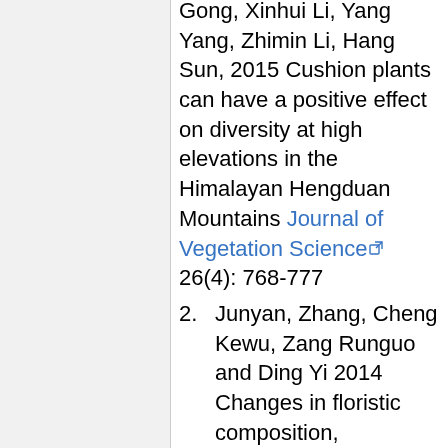Gong, Xinhui Li, Yang Yang, Zhimin Li, Hang Sun, 2015 Cushion plants can have a positive effect on diversity at high elevations in the Himalayan Hengduan Mountains Journal of Vegetation Science 26(4): 768-777
2. Junyan, Zhang, Cheng Kewu, Zang Runguo and Ding Yi 2014 Changes in floristic composition, community structure